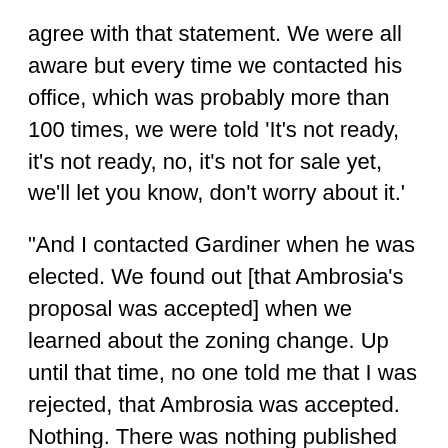agree with that statement. We were all aware but every time we contacted his office, which was probably more than 100 times, we were told 'It's not ready, it's not ready, no, it's not for sale yet, we'll let you know, don't worry about it.'
“And I contacted Gardiner when he was elected. We found out [that Ambrosia’s proposal was accepted] when we learned about the zoning change. Up until that time, no one told me that I was rejected, that Ambrosia was accepted. Nothing. There was nothing published as he says.”
As for the meeting at the Copernicus Center, Arena said it was attended by community members also, and thus the public, along with contractible representatives of the meeting and